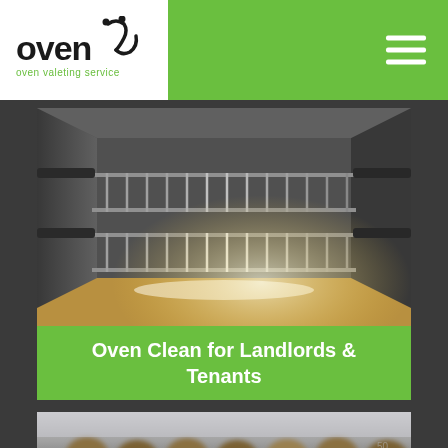[Figure (logo): Ovenu logo — stylized text 'oven' with a smiley U above it and tagline 'oven valeting service' in green, on white background]
[Figure (photo): Interior of a clean oven showing metal racks and reflective surfaces with light reflecting off the bottom tray]
Oven Clean for Landlords & Tenants
[Figure (photo): Blurred photo showing what appears to be gas burner knobs/controls on a cooker, slightly out of focus]